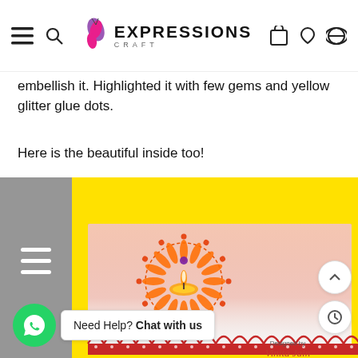Expressions Craft — navigation bar
embellish it. Highlighted it with few gems and yellow glitter glue dots.
Here is the beautiful inside too!
[Figure (photo): Inside of a handmade Diwali card with yellow card stock, orange and red stamped diya pattern with circular dot border, red scalloped border strip, and 'Designed by Vinita Jain' watermark at bottom right.]